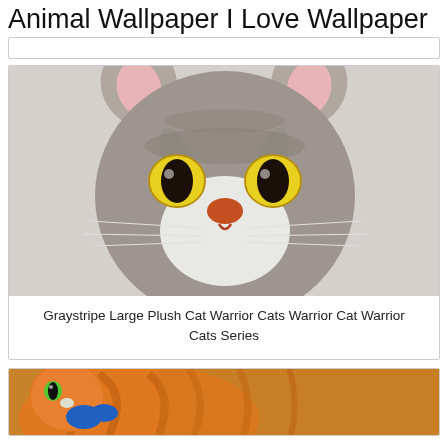Animal Wallpaper I Love Wallpaper
[Figure (photo): Gray tabby cat plush toy with yellow eyes, pink ears, orange nose, and white muzzle with whiskers, on a light background]
Graystripe Large Plush Cat Warrior Cats Warrior Cat Warrior Cats Series
[Figure (photo): Orange striped warrior cat with green eyes and blue ribbon/collar, cartoon/illustration style]